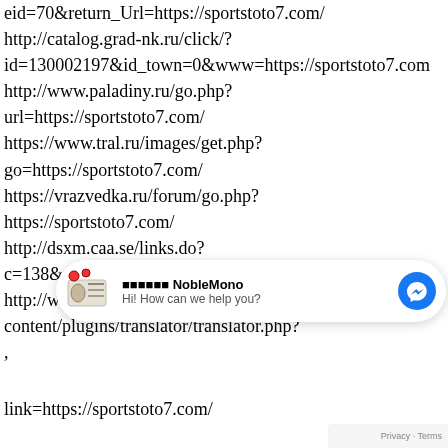eid=70&return_Url=https://sportstoto7.com/ http://catalog.grad-nk.ru/click/?id=130002197&id_town=0&www=https://sportstoto7.com http://www.paladiny.ru/go.php?url=https://sportstoto7.com/ https://www.tral.ru/images/get.php?go=https://sportstoto7.com/ https://vrazvedka.ru/forum/go.php? https://sportstoto7.com/ http://dsxm.caa.se/links.do?c=138&t=3282&h=utskick.html&g=0&link=https://sports http://www.artisansduchangement.tv/blog/wp-content/plugins/translator/translator.php? ,
[Figure (screenshot): Facebook Messenger chat widget showing NobleMono brand with logo, 'Hi! How can we help you?' message, and Messenger icon button]
link=https://sportstoto7.com/